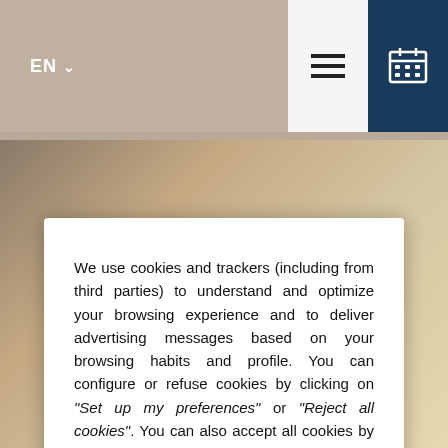EN  ▾
We use cookies and trackers (including from third parties) to understand and optimize your browsing experience and to deliver advertising messages based on your browsing habits and profile. You can configure or refuse cookies by clicking on "Set up my preferences" or "Reject all cookies". You can also accept all cookies by clicking on the "Accept All Cookies" button. For more information, you can read our Privacy Policy.
Reject all cookies | Set up my preferences | Accept all cookies